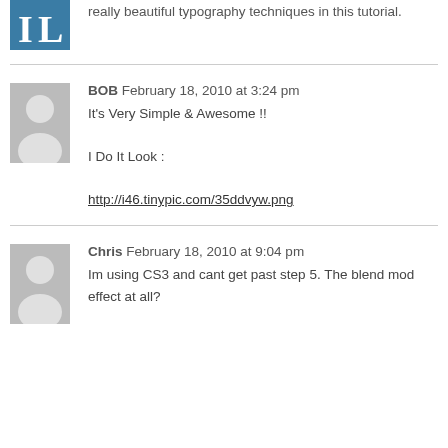really beautiful typography techniques in this tutorial.
BOB February 18, 2010 at 3:24 pm
It's Very Simple & Awesome !!

I Do It Look :

http://i46.tinypic.com/35ddvyw.png
Chris February 18, 2010 at 9:04 pm
Im using CS3 and cant get past step 5. The blend mod effect at all?